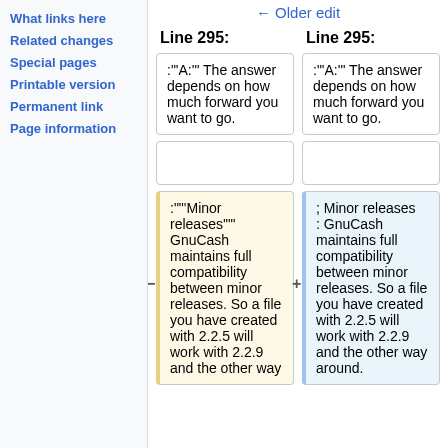What links here
Related changes
Special pages
Printable version
Permanent link
Page information
← Older edit
Line 295:
Line 295:
:"'A:'" The answer depends on how much forward you want to go.
:"'A:'" The answer depends on how much forward you want to go.
:"\'\'\'Minor releases\'\'\'" GnuCash maintains full compatibility between minor releases. So a file you have created with 2.2.5 will work with 2.2.9 and the other way
; Minor releases : GnuCash maintains full compatibility between minor releases. So a file you have created with 2.2.5 will work with 2.2.9 and the other way around.